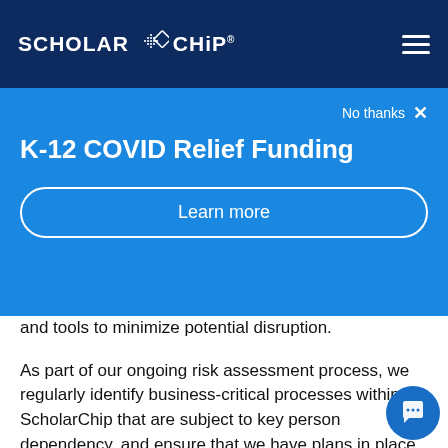SCHOLAR CHIP
K-12 COVID Relief Funding
No thanks ×
Learn more
and tools to minimize potential disruption.
As part of our ongoing risk assessment process, we regularly identify business-critical processes within ScholarChip that are subject to key person dependency, and ensure that we have plans in place to ensure business continuity should key personnel be unavailable.